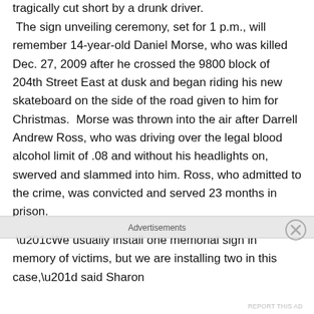tragically cut short by a drunk driver.
The sign unveiling ceremony, set for 1 p.m., will remember 14-year-old Daniel Morse, who was killed Dec. 27, 2009 after he crossed the 9800 block of 204th Street East at dusk and began riding his new skateboard on the side of the road given to him for Christmas.  Morse was thrown into the air after Darrell Andrew Ross, who was driving over the legal blood alcohol limit of .08 and without his headlights on, swerved and slammed into him. Ross, who admitted to the crime, was convicted and served 23 months in prison.
“We usually install one memorial sign in memory of victims, but we are installing two in this case,” said Sharon
Advertisements